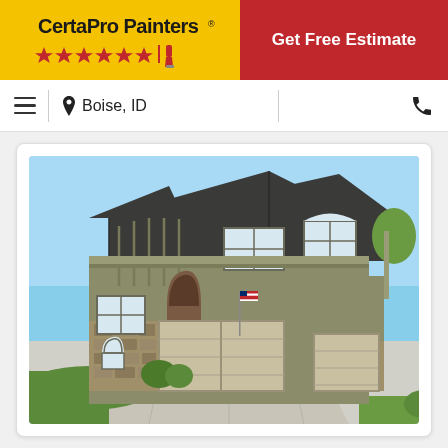[Figure (logo): CertaPro Painters logo on yellow background with red stars and brush icon]
Get Free Estimate
[Figure (other): Navigation bar with hamburger menu, location pin icon and 'Boise, ID' text, vertical dividers, and phone icon]
[Figure (photo): Exterior photo of a large two-story house with olive/sage green stucco and stone accents, dark gray roof, three-car garage with beige doors, concrete driveway, American flag, blue sky background]